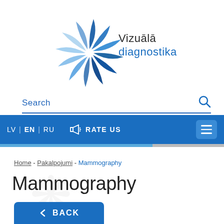[Figure (logo): Vizuālā diagnostika logo — circular pinwheel shape in shades of blue with company name text 'Vizuālā diagnostika' to the right]
Search
LV  EN  RU   RATE US
Home - Pakalpojumi - Mammography
Mammography
← BACK